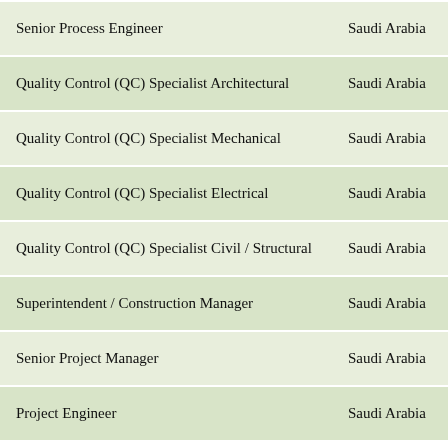| Job Title | Location | Action |
| --- | --- | --- |
| Senior Process Engineer | Saudi Arabia | View |
| Quality Control (QC) Specialist Architectural | Saudi Arabia | View |
| Quality Control (QC) Specialist Mechanical | Saudi Arabia | View |
| Quality Control (QC) Specialist Electrical | Saudi Arabia | View |
| Quality Control (QC) Specialist Civil / Structural | Saudi Arabia | View |
| Superintendent / Construction Manager | Saudi Arabia | View |
| Senior Project Manager | Saudi Arabia | View |
| Project Engineer | Saudi Arabia | View |